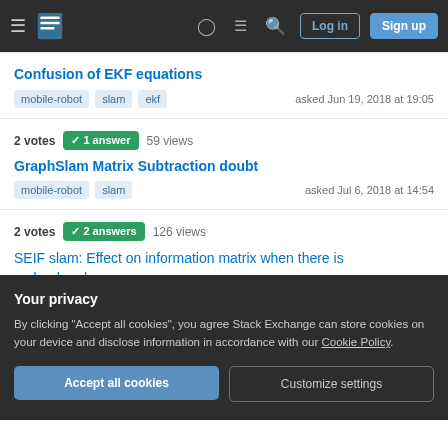Navigation bar with hamburger menu, logo, help icon, chat icon, search icon, Log in button, Sign up button
Confusion of EKF equations
mobile-robot  slam  ekf    asked Jun 19, 2018 at 19:05
2 votes  ✓ 1 answer  59 views
GraphSlam Matrix Subtraction doubt
mobile-robot  slam    asked Jul 6, 2018 at 14:54
2 votes  ✓ 2 answers  126 views
SEIF slam: Effect on information matrix when there is no landmarks
Your privacy
By clicking "Accept all cookies", you agree Stack Exchange can store cookies on your device and disclose information in accordance with our Cookie Policy.
Accept all cookies
Customize settings